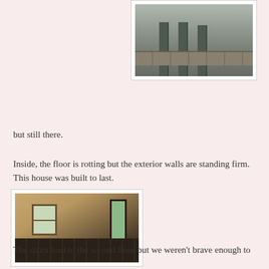[Figure (photo): Outdoor photo showing wooden pillars/posts and a stone wall foundation, photographed from outside an old house]
but still there.
Inside, the floor is rotting but the exterior walls are standing firm. This house was built to last.
[Figure (photo): Interior photo of a deteriorating room with rotting wooden floor planks, a window with panes, a doorway opening, and damaged walls and ceiling]
The stairs lead to the second floor but we weren't brave enough to